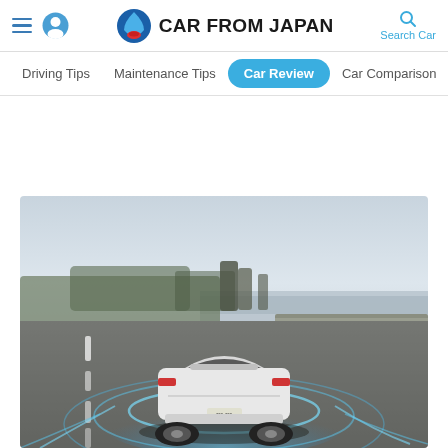CAR FROM JAPAN — navigation header with Driving Tips, Maintenance Tips, Car Review (active), Car Comparison
[Figure (photo): Rear view of a white Tesla Model S sedan driving on a highway with autopilot sensor visualization lines shown in blue around the car. Overcast sky, trees and water in background.]